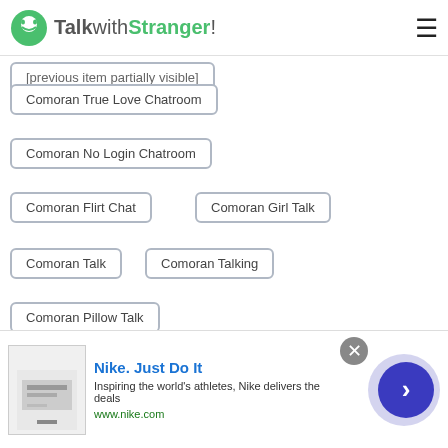TalkwithStranger!
Comoran True Love Chatroom
Comoran No Login Chatroom
Comoran Flirt Chat
Comoran Girl Talk
Comoran Talk
Comoran Talking
Comoran Pillow Talk
Comoran Meet New People
Comoran Fun Chat
Comoran Text Strangers
Comoran Free Talk and Text
Nike. Just Do It — Inspiring the world's athletes, Nike delivers the deals — www.nike.com